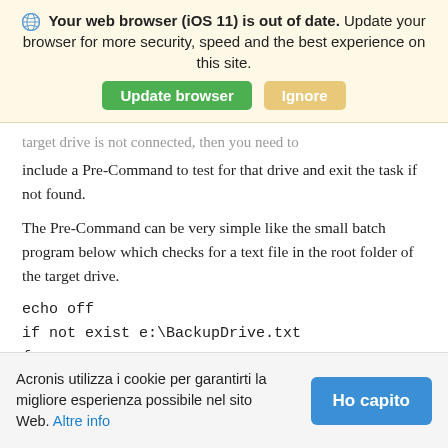[Figure (screenshot): Browser update notification banner with globe icon. Text: 'Your web browser (iOS 11) is out of date. Update your browser for more security, speed and the best experience on this site.' with green 'Update browser' button and tan 'Ignore' button.]
target drive is not connected, then you need to include a Pre-Command to test for that drive and exit the task if not found.
The Pre-Command can be very simple like the small batch program below which checks for a text file in the root folder of the target drive.
echo off
if not exist e:\BackupDrive.txt
{
Acronis utilizza i cookie per garantirti la migliore esperienza possibile nel sito Web. Altre info
[Figure (screenshot): Cookie consent banner at bottom with 'Ho capito' blue button.]